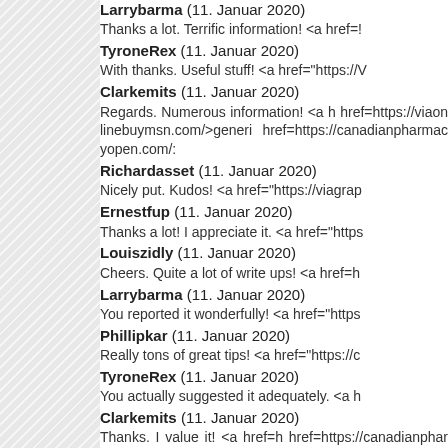Larrybarma (11. Januar 2020)
Thanks a lot. Terrific information! <a href=...
TyroneRex (11. Januar 2020)
With thanks. Useful stuff! <a href="https://...
Clarkemits (11. Januar 2020)
Regards. Numerous information! <a h href=https://viaonlinebuymsn.com/>generi... href=https://canadianpharmacyopen.com/...
Richardasset (11. Januar 2020)
Nicely put. Kudos! <a href="https://viagrap...
Ernestfup (11. Januar 2020)
Thanks a lot! I appreciate it. <a href="https...
Louiszidly (11. Januar 2020)
Cheers. Quite a lot of write ups! <a href=h...
Larrybarma (11. Januar 2020)
You reported it wonderfully! <a href="https...
Phillipkar (11. Januar 2020)
Really tons of great tips! <a href="https://c...
TyroneRex (11. Januar 2020)
You actually suggested it adequately. <a h...
Clarkemits (11. Januar 2020)
Thanks. I value it! <a href=h... href=https://canadianpharmacyopen.com/... href=https://safeonlinecanadian.com/>nort... href=https://trustedwebpharmacy.com/>glo... href=https://canadianpharmaciescubarx.co...